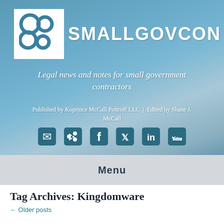[Figure (logo): SmallGovCon logo with stylized interlocking circles/letters and site name 'SMALLGOVCON' on a blue blurred background banner]
Legal news and notes for small government contractors
Published by Koprince McCall Pottroff LLC | Edited by Shane J. McCall
[Figure (infographic): Social media icons: email, RSS, Facebook, Twitter, LinkedIn, YouTube]
Menu
Tag Archives: Kingdomware
← Older posts